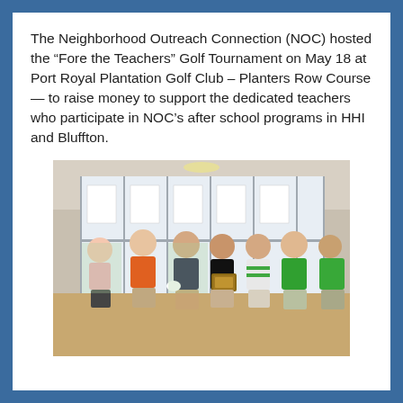The Neighborhood Outreach Connection (NOC) hosted the “Fore the Teachers” Golf Tournament on May 18 at Port Royal Plantation Golf Club – Planters Row Course — to raise money to support the dedicated teachers who participate in NOC’s after school programs in HHI and Bluffton.
[Figure (photo): Group photo of seven people standing together indoors in front of glass doors with posted papers/notices. From left: a woman in pink top and dark shorts, a tall man in an orange polo, a man in a dark shirt holding what appears to be gloves, a man in a black shirt holding a plaque, a shorter man in a white and green striped polo, a man in a green polo, and another man in green partially visible on the right. The setting appears to be a golf club or banquet facility.]